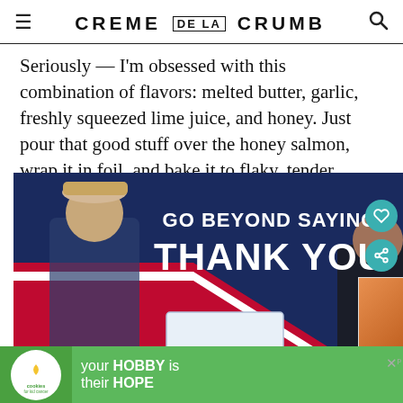CREME DE LA CRUMB
Seriously — I'm obsessed with this combination of flavors: melted butter, garlic, freshly squeezed lime juice, and honey. Just pour that good stuff over the honey salmon, wrap it in foil, and bake it to flaky, tender perfection.
[Figure (screenshot): Advertisement banner: 'GO BEYOND SAYING THANK YOU' with image of two people — a service member and a civilian — exchanging a box. Dark blue background with red and white diagonal stripes.]
[Figure (screenshot): WHAT'S NEXT panel showing 'Best, Easy Healthy Bak...' with a thumbnail image of baked goods.]
[Figure (screenshot): Bottom advertisement banner: 'cookies for kid cancer' logo and 'your HOBBY is their HOPE' text on green background.]